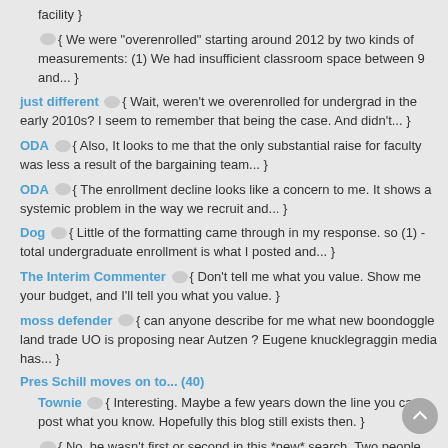facility }
{ We were "overenrolled" starting around 2012 by two kinds of measurements: (1) We had insufficient classroom space between 9 and... }
just different { Wait, weren't we overenrolled for undergrad in the early 2010s? I seem to remember that being the case. And didn't... }
ODA { Also, It looks to me that the only substantial raise for faculty was less a result of the bargaining team... }
ODA { The enrollment decline looks like a concern to me. It shows a systemic problem in the way we recruit and... }
Dog { Little of the formatting came through in my response. so (1) - total undergraduate enrollment is what I posted and... }
The Interim Commenter { Don't tell me what you value. Show me your budget, and I'll tell you what you value. }
moss defender { can anyone describe for me what new boondoggle land trade UO is proposing near Autzen ? Eugene knucklegraggin media has... }
Pres Schill moves on to... (40)
Townie { Interesting. Maybe a few years down the line you can post what you know. Hopefully this blog still exists then. }
{ No, he wasn't first or second in this *new* search. Two people turned it down before him. Cannot tell you... }